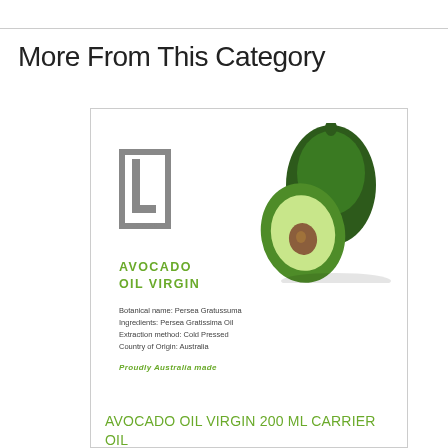More From This Category
[Figure (photo): Product card showing Avocado Oil Virgin 200 ML Carrier Oil with Leonardo brand logo, avocado image, product name, botanical details, and pricing area]
AVOCADO OIL VIRGIN 200 ML CARRIER OIL